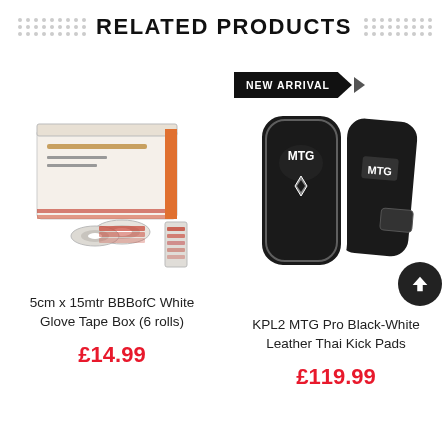RELATED PRODUCTS
[Figure (photo): Box of 5cm x 15mtr BBBofC White Glove Tape with rolls of tape beside it]
5cm x 15mtr BBBofC White Glove Tape Box (6 rolls)
£14.99
[Figure (photo): KPL2 MTG Pro Black-White Leather Thai Kick Pads - two pads shown, with NEW ARRIVAL banner]
KPL2 MTG Pro Black-White Leather Thai Kick Pads
£119.99